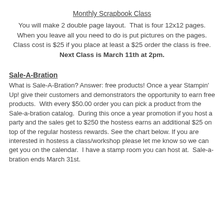Monthly Scrapbook Class
You will make 2 double page layout.  That is four 12x12 pages.
When you leave all you need to do is put pictures on the pages.
Class cost is $25 if you place at least a $25 order the class is free.
Next Class is March 11th at 2pm.
Sale-A-Bration
What is Sale-A-Bration? Answer: free products! Once a year Stampin' Up! give their customers and demonstrators the opportunity to earn free products.  With every $50.00 order you can pick a product from the Sale-a-bration catalog.  During this once a year promotion if you host a party and the sales get to $250 the hostess earns an additional $25 on top of the regular hostess rewards. See the chart below. If you are interested in hostess a class/workshop please let me know so we can get you on the calendar.  I have a stamp room you can host at.  Sale-a-bration ends March 31st.